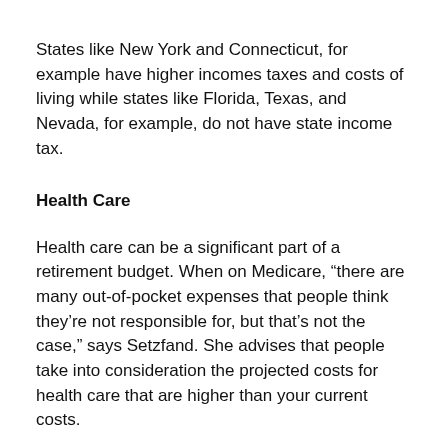States like New York and Connecticut, for example have higher incomes taxes and costs of living while states like Florida, Texas, and Nevada, for example, do not have state income tax.
Health Care
Health care can be a significant part of a retirement budget. When on Medicare, “there are many out-of-pocket expenses that people think they’re not responsible for, but that’s not the case,” says Setzfand. She advises that people take into consideration the projected costs for health care that are higher than your current costs.